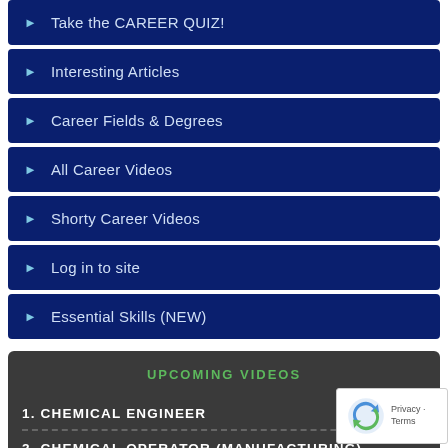► Take the CAREER QUIZ!
► Interesting Articles
► Career Fields & Degrees
► All Career Videos
► Shorty Career Videos
► Log in to site
► Essential Skills (NEW)
UPCOMING VIDEOS
1. CHEMICAL ENGINEER
2. CHEMICAL OPERATOR (MANUFACTURING)
3. COURT REPORTER